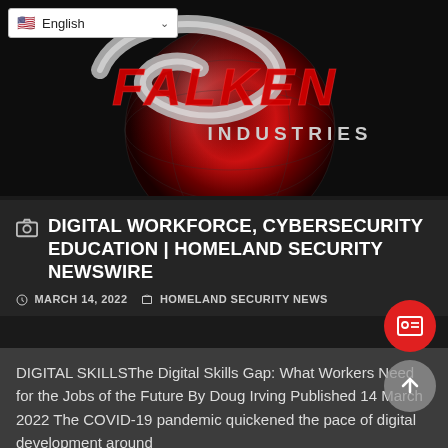[Figure (logo): Falken Industries logo — stylized red globe with silver/chrome lettering FALKEN INDUSTRIES on dark background]
DIGITAL WORKFORCE, CYBERSECURITY EDUCATION | HOMELAND SECURITY NEWSWIRE
MARCH 14, 2022   HOMELAND SECURITY NEWS
DIGITAL SKILLSThe Digital Skills Gap: What Workers Need for the Jobs of the Future By Doug Irving Published 14 March 2022 The COVID-19 pandemic quickened the pace of digital development around